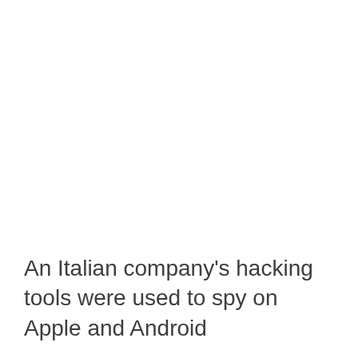An Italian company's hacking tools were used to spy on Apple and Android